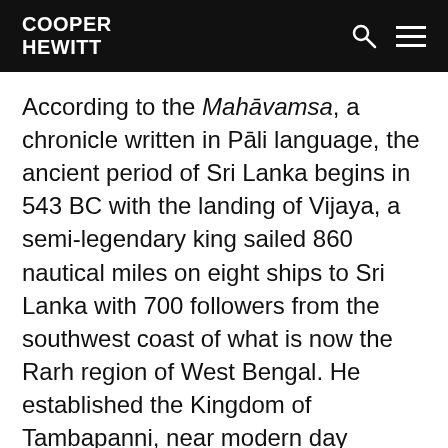COOPER HEWITT
According to the Mahāvamsa, a chronicle written in Pāli language, the ancient period of Sri Lanka begins in 543 BC with the landing of Vijaya, a semi-legendary king sailed 860 nautical miles on eight ships to Sri Lanka with 700 followers from the southwest coast of what is now the Rarh region of West Bengal. He established the Kingdom of Tambapanni, near modern day Mannar. Vijaya is the first of the approximately 189 native